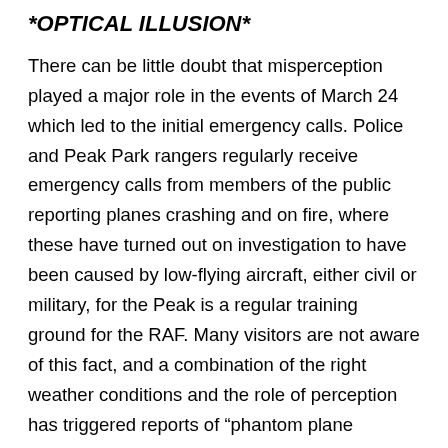*OPTICAL ILLUSION*
There can be little doubt that misperception played a major role in the events of March 24 which led to the initial emergency calls. Police and Peak Park rangers regularly receive emergency calls from members of the public reporting planes crashing and on fire, where these have turned out on investigation to have been caused by low-flying aircraft, either civil or military, for the Peak is a regular training ground for the RAF. Many visitors are not aware of this fact, and a combination of the right weather conditions and the role of perception has triggered reports of “phantom plane crashes” from otherwise sane and sensible observers who have seen aircraft apparently disappear behind hillsides over the horizon. This explanation is suggested to account for a number of unexplained reports of plane crashes which have resulted